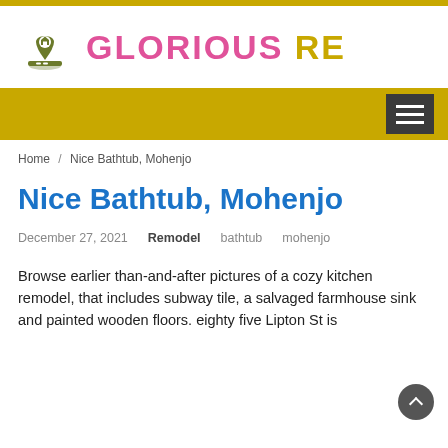[Figure (logo): Glorious RE real estate logo with house/map pin icon in olive green and text GLORIOUS in pink and RE in gold/yellow]
Navigation bar with hamburger menu on gold/yellow background
Home / Nice Bathtub, Mohenjo
Nice Bathtub, Mohenjo
December 27, 2021   Remodel   bathtub   mohenjo
Browse earlier than-and-after pictures of a cozy kitchen remodel, that includes subway tile, a salvaged farmhouse sink and painted wooden floors. eighty five Lipton St is